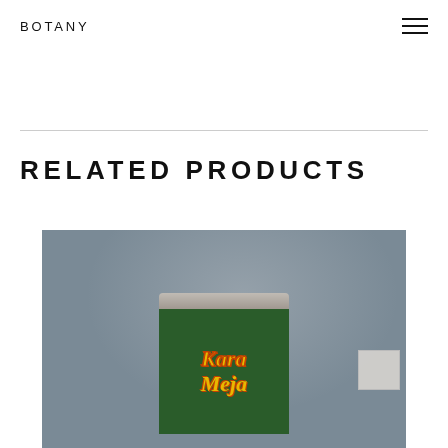BOTANY
RELATED PRODUCTS
[Figure (photo): A green tin can of a product labeled 'Kara Meja' with yellow and red lettering, photographed against a grey background. A small quick-view icon box is visible in the upper right of the product image.]